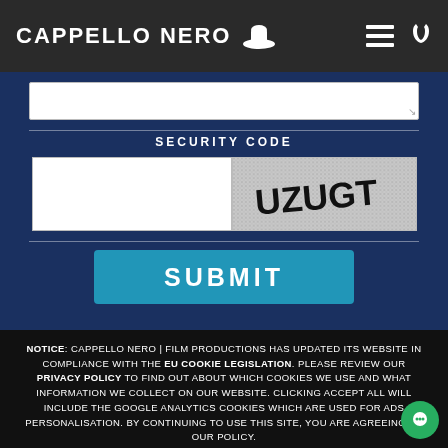CAPPELLO NERO
[Figure (screenshot): CAPTCHA security code section with text input field, CAPTCHA image showing 'UZUGT', and SUBMIT button on a dark blue background]
NOTICE: CAPPELLO NERO | FILM PRODUCTIONS HAS UPDATED ITS WEBSITE IN COMPLIANCE WITH THE EU COOKIE LEGISLATION. PLEASE REVIEW OUR PRIVACY POLICY TO FIND OUT ABOUT WHICH COOKIES WE USE AND WHAT INFORMATION WE COLLECT ON OUR WEBSITE. CLICKING ACCEPT ALL WILL INCLUDE THE GOOGLE ANALYTICS COOKIES WHICH ARE USED FOR ADS PERSONALISATION. BY CONTINUING TO USE THIS SITE, YOU ARE AGREEING TO OUR POLICY.
ACCEPT ALL & CONTINUE
REVIEW & CHANGE